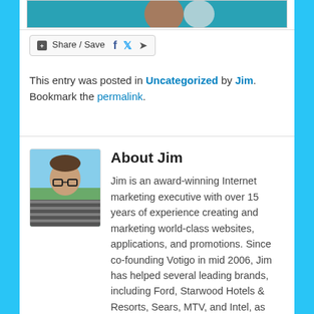[Figure (photo): Partial view of a product image (orange and white bottles/containers on a teal/turquoise background)]
[Figure (other): Share/Save social media button with Facebook, Twitter, and share icons]
This entry was posted in Uncategorized by Jim. Bookmark the permalink.
[Figure (photo): Profile photo of Jim, a man with glasses wearing a striped shirt outdoors]
About Jim
Jim is an award-winning Internet marketing executive with over 15 years of experience creating and marketing world-class websites, applications, and promotions. Since co-founding Votigo in mid 2006, Jim has helped several leading brands, including Ford, Starwood Hotels & Resorts, Sears, MTV, and Intel, as well as top-tier advertising agencies including Ogilvy, Crispin Porter + Bogusky, DraftFCB, and Arnold Worldwide develop and implement successful social media marketing solutions. He is responsible for